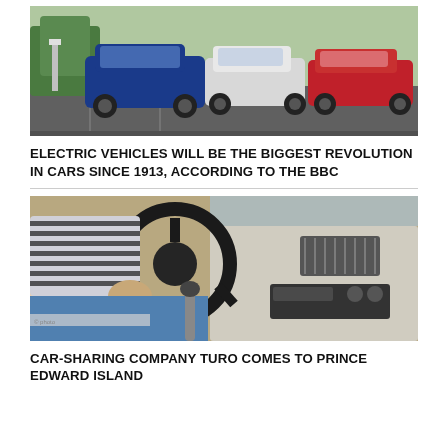[Figure (photo): Three Tesla electric vehicles parked in a lot near a charging station. Colors include blue, white, and red.]
ELECTRIC VEHICLES WILL BE THE BIGGEST REVOLUTION IN CARS SINCE 1913, ACCORDING TO THE BBC
[Figure (photo): A person wearing a striped long-sleeve shirt driving a car, seen from the passenger side, hands on the steering wheel and gear shift.]
CAR-SHARING COMPANY TURO COMES TO PRINCE EDWARD ISLAND